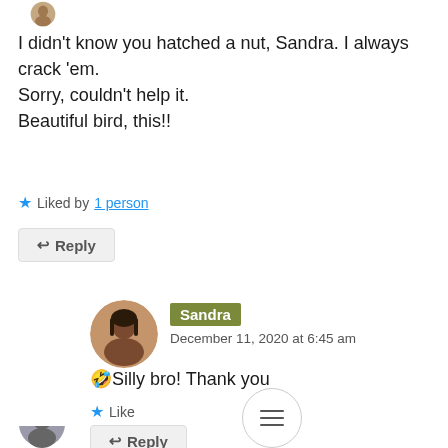[Figure (photo): Partial circular avatar photo at top left, cropped]
I didn't know you hatched a nut, Sandra. I always crack 'em.
Sorry, couldn't help it.
Beautiful bird, this!!
★ Liked by 1 person
↩ Reply
[Figure (photo): Circular avatar photo of Sandra]
Sandra
December 11, 2020 at 6:45 am
🤣Silly bro! Thank you
★ Like
↩ Reply
[Figure (other): Hamburger menu circular button]
[Figure (photo): Partial circular avatar photo at bottom, cropped]